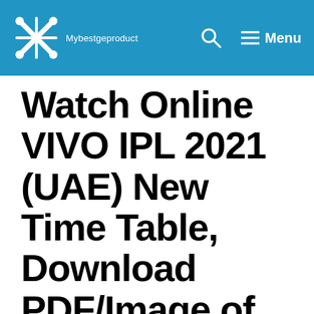Mybestgeproduct — Menu
Watch Online VIVO IPL 2021 (UAE) New Time Table, Download PDF/Image of Schedule, Team List, Points Table